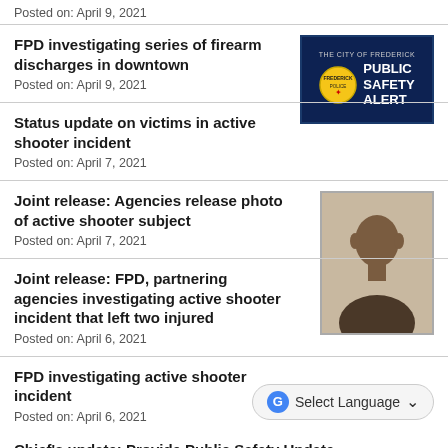Posted on: April 9, 2021
FPD investigating series of firearm discharges in downtown
Posted on: April 9, 2021
[Figure (other): Frederick Police Public Safety Alert badge logo with dark blue background]
Status update on victims in active shooter incident
Posted on: April 7, 2021
Joint release: Agencies release photo of active shooter subject
Posted on: April 7, 2021
[Figure (photo): Mugshot/headshot photo of a Black male subject against a plain background]
Joint release: FPD, partnering agencies investigating active shooter incident that left two injured
Posted on: April 6, 2021
FPD investigating active shooter incident
Posted on: April 6, 2021
Chief's update: Provide Public Safety Update...